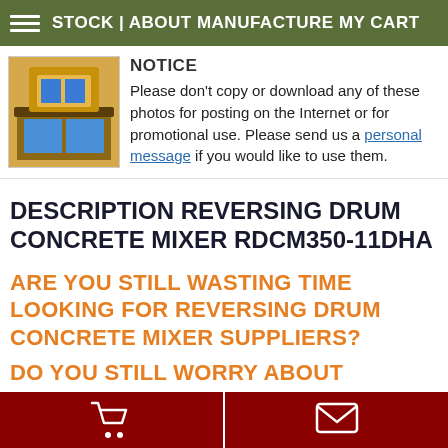STOCK | ABOUT MANUFACTURE MY CART
NOTICE
Please don't copy or download any of these photos for posting on the Internet or for promotional use. Please send us a personal message if you would like to use them.
DESCRIPTION REVERSING DRUM CONCRETE MIXER RDCM350-11DHA
ARE YOU STILL WASTING TIME LOOKING FOR REVERSING DRUM CONCRETE MIXER SUPPLIERS?
DO YOU STILL WORRY ABOUT PRODUCT QUALITY ASSURANCE?